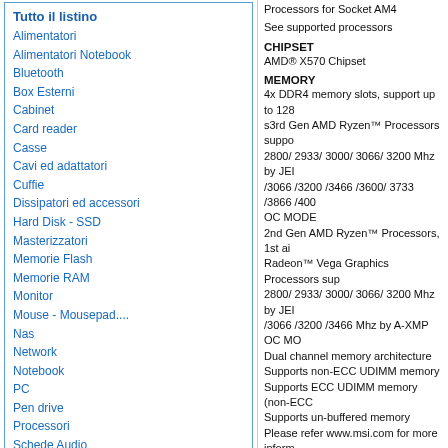Tutto il listino
Alimentatori
Alimentatori Notebook
Bluetooth
Box Esterni
Cabinet
Card reader
Casse
Cavi ed adattatori
Cuffie
Dissipatori ed accessori
Hard Disk - SSD
Masterizzatori
Memorie Flash
Memorie RAM
Monitor
Mouse - Mousepad....
Nas
Network
Notebook
PC
Pen drive
Processori
Schede Audio
Schede madri
Schede video
Tastiere
UPS - Gruppi Continuità ciabatte
Ventole ed accessori
WebCam
Altro
Produttori
Processors for Socket AM4
See supported processors
CHIPSET
AMD® X570 Chipset
MEMORY
4x DDR4 memory slots, support up to 128
s3rd Gen AMD Ryzen™ Processors support 2800/ 2933/ 3000/ 3066/ 3200 Mhz by JEI /3066 /3200 /3466 /3600/ 3733 /3866 /400 OC MODE
2nd Gen AMD Ryzen™ Processors, 1st ai Radeon™ Vega Graphics Processors support 2800/ 2933/ 3000/ 3066/ 3200 Mhz by JEI /3066 /3200 /3466 Mhz by A-XMP OC MO
Dual channel memory architecture
Supports non-ECC UDIMM memory
Supports ECC UDIMM memory (non-ECC
Supports un-buffered memory
Please refer www.msi.com for more inform
See supported memory
EXPANSION SLOTS
1x PCIe 4.0/ 3.0 x16 slot (PCI_E1)
3rd Gen AMD Ryzen™ support PCIe 4.0 x
2nd Gen AMD Ryzen™ support PCIe 3.0
Ryzen™ with Radeon™ Vega Graphics an Radeon™ Graphics support PCIe 3.0 x8 r
1x PCIe 4.0/ 3.0 x16 slot (PCI_E3, suppo
3x PCIe 3.0 x1 slots1
PCI_E2 will be unavailable when installing speeds may vary for different devices
ONBOARD GRAPHICS
1x HDMI 1.4 port, supports a maximum re
Only support when using Ryzen™ with Ra
AMD Ryzen™ with Radeon™ Graphics Pr of 2048 MB
MULTI GPU